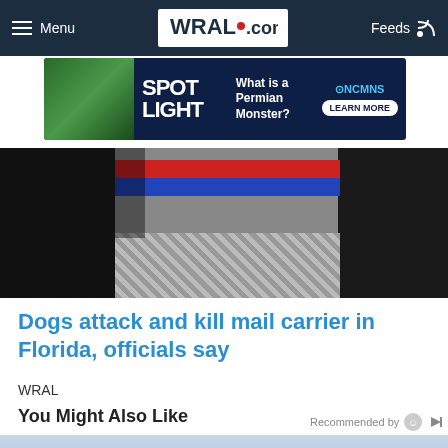Menu  WRAL.com  Feeds
[Figure (photo): Advertisement banner: SPOTLIGHT - What is a Permian Monster? NCMNS - LEARN MORE]
[Figure (photo): Cropped photo showing legs of mail carrier near USPS mail truck with red and blue stripes and metal step]
Dogs attack and kill mail carrier in Florida, officials say
WRAL
[Figure (other): Loading indicator with three dots of varying sizes]
You Might Also Like
Recommended by
[Figure (photo): Partially visible image at the bottom of the page, appears to show a vehicle]